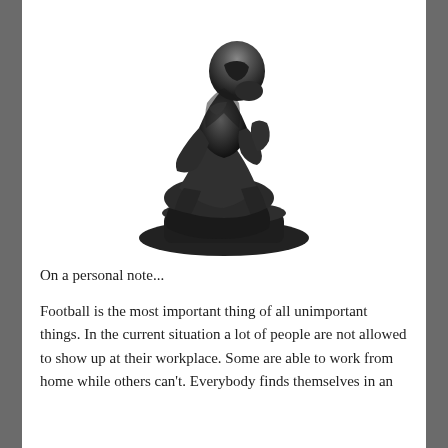[Figure (photo): Black and white photograph of The Thinker sculpture by Rodin, showing the iconic seated bronze figure in a contemplative pose, resting chin on hand, on a white background.]
On a personal note...
Football is the most important thing of all unimportant things. In the current situation a lot of people are not allowed to show up at their workplace. Some are able to work from home while others can't. Everybody finds themselves in an